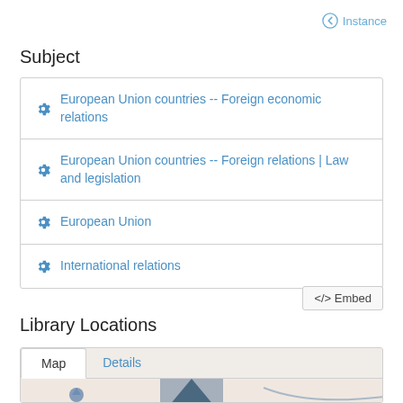Instance
Subject
European Union countries -- Foreign economic relations
European Union countries -- Foreign relations | Law and legislation
European Union
International relations
</> Embed
Library Locations
[Figure (map): Map tab selected showing library location map with tab controls for Map and Details]